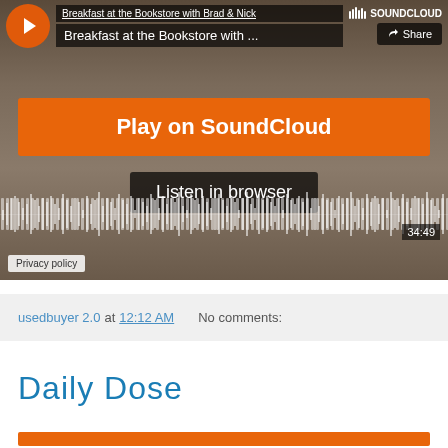[Figure (screenshot): SoundCloud embedded player showing 'Breakfast at the Bookstore with Brad & Nick' podcast. Features an orange Play on SoundCloud button, a Listen in browser button, an audio waveform visualization showing 34:49 duration, and a Privacy policy label. Background shows a blurred photo of two people.]
usedbuyer 2.0 at 12:12 AM    No comments:
Daily Dose